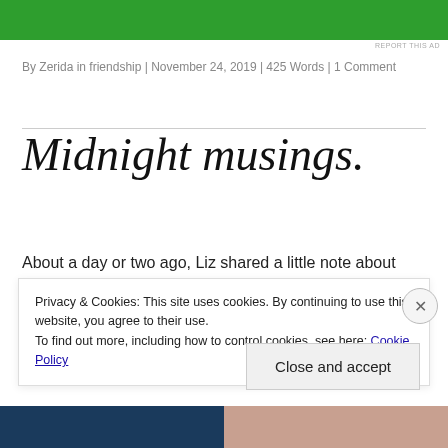[Figure (other): Green advertisement banner at top of page]
REPORT THIS AD
By Zerida in friendship | November 24, 2019 | 425 Words | 1 Comment
Midnight musings.
About a day or two ago, Liz shared a little note about
Privacy & Cookies: This site uses cookies. By continuing to use this website, you agree to their use.
To find out more, including how to control cookies, see here: Cookie Policy
Close and accept